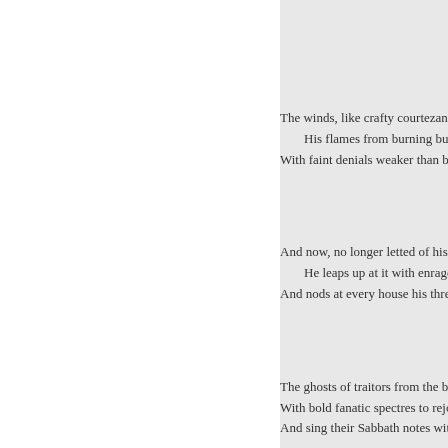The winds, like crafty courtezans,
    His flames from burning but to
With faint denials weaker than b

And now, no longer letted of his
    He leaps up at it with enraged
And nods at every house his thre

The ghosts of traitors from the b
With bold fanatic spectres to rejo
And sing their Sabbath notes wit

Our guardian angel saw them wh
Above the palace of our slumb'ri